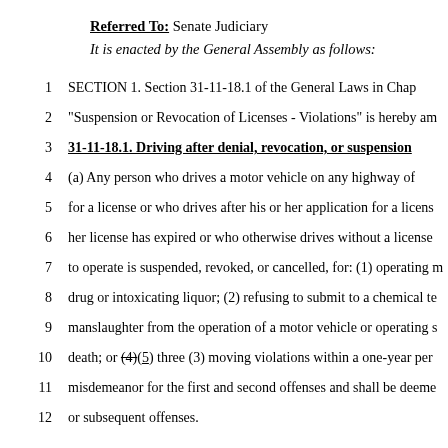Referred To: Senate Judiciary
It is enacted by the General Assembly as follows:
1   SECTION 1. Section 31-11-18.1 of the General Laws in Chap
2   "Suspension or Revocation of Licenses - Violations" is hereby am
3   31-11-18.1. Driving after denial, revocation, or suspension
4   (a) Any person who drives a motor vehicle on any highway of
5   for a license or who drives after his or her application for a licens
6   her license has expired or who otherwise drives without a license
7   to operate is suspended, revoked, or cancelled, for: (1) operating m
8   drug or intoxicating liquor; (2) refusing to submit to a chemical te
9   manslaughter from the operation of a motor vehicle or operating s
10  death; or (4)(5) three (3) moving violations within a one-year per
11  misdemeanor for the first and second offenses and shall be deeme
12  or subsequent offenses.